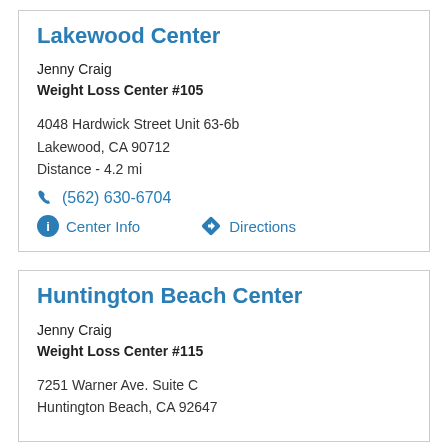Lakewood Center
Jenny Craig
Weight Loss Center #105
4048 Hardwick Street Unit 63-6b
Lakewood, CA 90712
Distance - 4.2 mi
(562) 630-6704
Center Info   Directions
Huntington Beach Center
Jenny Craig
Weight Loss Center #115
7251 Warner Ave. Suite C
Huntington Beach, CA 92647